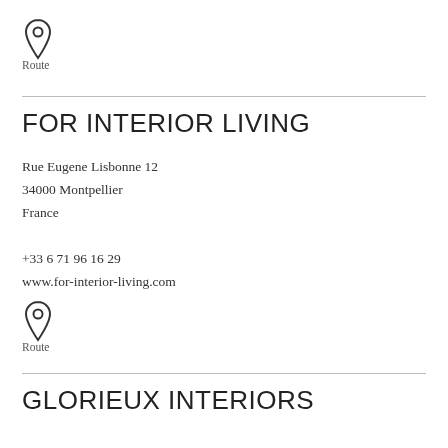[Figure (illustration): Map pin / location marker icon]
Route
FOR INTERIOR LIVING
Rue Eugene Lisbonne 12
34000 Montpellier
France
+33 6 71 96 16 29
www.for-interior-living.com
[Figure (illustration): Map pin / location marker icon]
Route
GLORIEUX INTERIORS